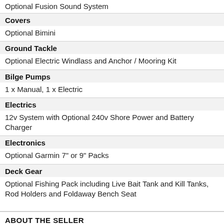Optional Fusion Sound System
Covers
Optional Bimini
Ground Tackle
Optional Electric Windlass and Anchor / Mooring Kit
Bilge Pumps
1 x Manual, 1 x Electric
Electrics
12v System with Optional 240v Shore Power and Battery Charger
Electronics
Optional Garmin 7" or 9" Packs
Deck Gear
Optional Fishing Pack including Live Bait Tank and Kill Tanks, Rod Holders and Foldaway Bench Seat
ABOUT THE SELLER